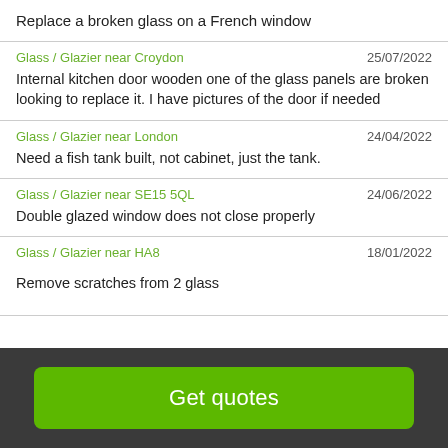Replace a broken glass on a French window
Glass / Glazier near Croydon | 25/07/2022 | Internal kitchen door wooden one of the glass panels are broken looking to replace it. I have pictures of the door if needed
Glass / Glazier near London | 24/04/2022 | Need a fish tank built, not cabinet, just the tank.
Glass / Glazier near SE15 5QL | 24/06/2022 | Double glazed window does not close properly
Glass / Glazier near HA8 | 18/01/2022 | Remove scratches from 2 glass
Get quotes